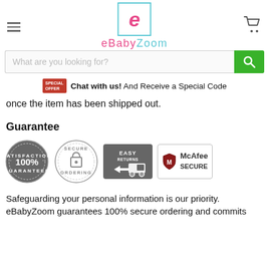eBabyZoom navigation header with hamburger menu, logo, and cart icon
[Figure (screenshot): Search bar with placeholder 'What are you looking for?' and green search button]
Chat with us! And Receive a Special Code
once the item has been shipped out.
Guarantee
[Figure (infographic): Four trust badges: 100% Satisfaction Guaranteed stamp, Secure Ordering padlock circle, Easy Returns truck icon, McAfee Secure badge]
Safeguarding your personal information is our priority. eBabyZoom guarantees 100% secure ordering and commits